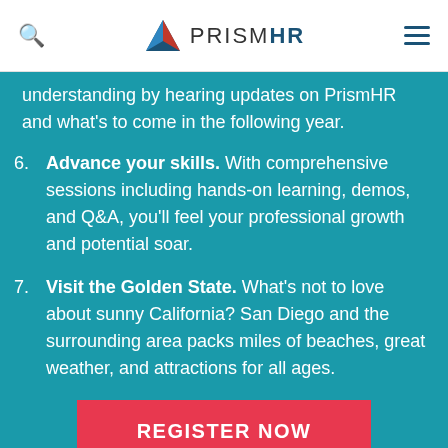PrismHR
understanding by hearing updates on PrismHR and what's to come in the following year.
6. Advance your skills. With comprehensive sessions including hands-on learning, demos, and Q&A, you'll feel your professional growth and potential soar.
7. Visit the Golden State. What's not to love about sunny California? San Diego and the surrounding area packs miles of beaches, great weather, and attractions for all ages.
REGISTER NOW